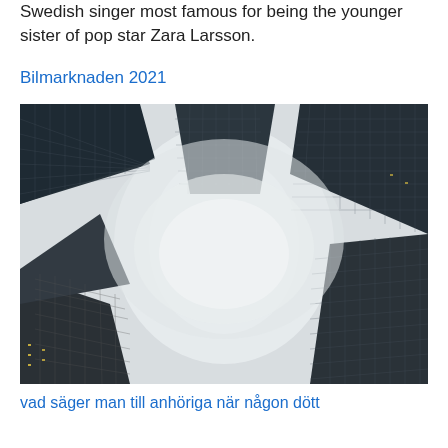Swedish singer most famous for being the younger sister of pop star Zara Larsson.
Bilmarknaden 2021
[Figure (photo): Upward-looking view of several dark glass skyscrapers converging toward a misty, foggy sky in the center. The buildings are dark grey/black with grid-like window patterns. The scene is dramatic with fog obscuring the tops of the buildings.]
vad säger man till anhöriga när någon dött